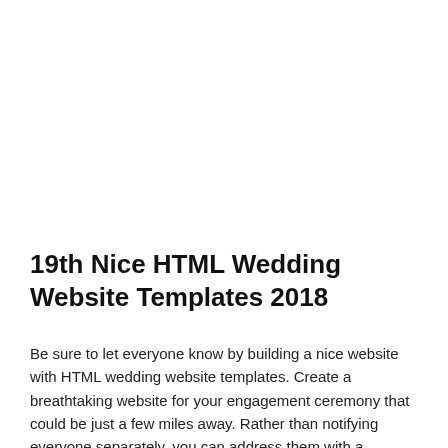19th Nice HTML Wedding Website Templates 2018
Be sure to let everyone know by building a nice website with HTML wedding website templates. Create a breathtaking website for your engagement ceremony that could be just a few miles away. Rather than notifying everyone separately, you can address them with a hyperlink to your website. Spend less of your valuable resources on a breathtaking website and concentrate more on the design part.